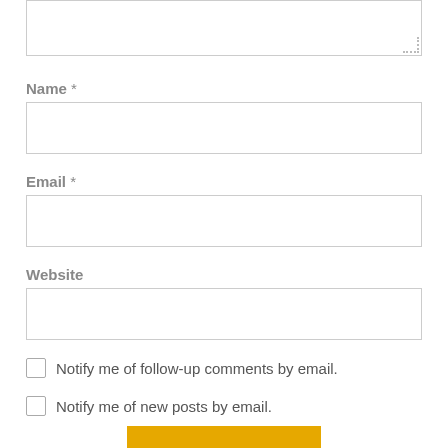[Figure (screenshot): Top portion of a web comment form showing a textarea (partially visible at top), followed by Name, Email, and Website text input fields, two checkboxes for email notification, and a partial yellow submit button at the bottom.]
Name *
Email *
Website
Notify me of follow-up comments by email.
Notify me of new posts by email.